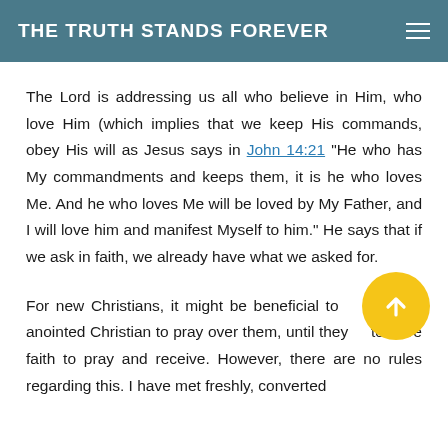THE TRUTH STANDS FOREVER
The Lord is addressing us all who believe in Him, who love Him (which implies that we keep His commands, obey His will as Jesus says in John 14:21 “He who has My commandments and keeps them, it is he who loves Me. And he who loves Me will be loved by My Father, and I will love him and manifest Myself to him.” He says that if we ask in faith, we already have what we asked for.
For new Christians, it might be beneficial to an anointed Christian to pray over them, until they to have faith to pray and receive. However, there are no rules regarding this. I have met freshly, converted